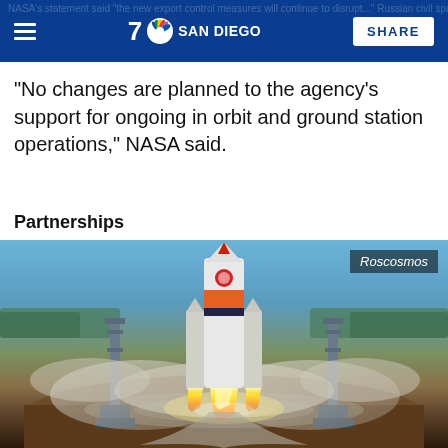NBC 7 SAN DIEGO | SHARE
"No changes are planned to the agency's support for ongoing in orbit and ground station operations," NASA said.
Partnerships
[Figure (photo): A Soyuz rocket launching from a launch pad with fire and smoke beneath it, photographed from an aerial perspective. Label 'Roscosmos' appears in upper right.]